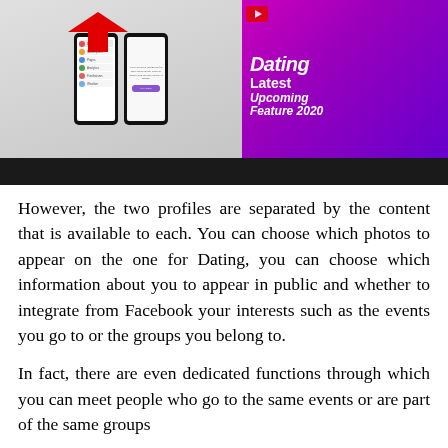[Figure (screenshot): YouTube thumbnail showing Facebook Dating Latest Upcoming Feature 2020, with smartphone screenshots and red arrow pointing to Dating menu option]
However, the two profiles are separated by the content that is available to each. You can choose which photos to appear on the one for Dating, you can choose which information about you to appear in public and whether to integrate from Facebook your interests such as the events you go to or the groups you belong to.
In fact, there are even dedicated functions through which you can meet people who go to the same events or are part of the same groups